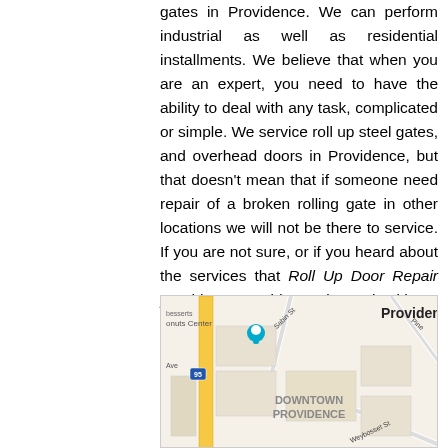gates in Providence. We can perform industrial as well as residential installments. We believe that when you are an expert, you need to have the ability to deal with any task, complicated or simple. We service roll up steel gates, and overhead doors in Providence, but that doesn't mean that if someone need repair of a broken rolling gate in other locations we will not be there to service. If you are not sure, or if you heard about the services that Roll Up Door Repair providence provide, get in touch with us, and we will do our best to provide you with the service that made Roll Up Door Repair providence to one of the best companies in Providence RI.
[Figure (map): Google Maps screenshot showing Providence downtown area, including Dunkin Donuts Center, Downtown Providence label, route 95, Sabin St, Weybosset St, Pine St area.]